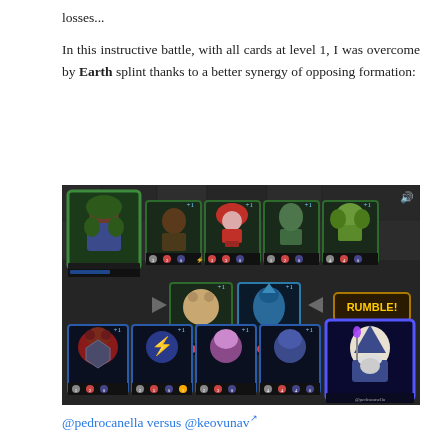losses...
In this instructive battle, with all cards at level 1, I was overcome by Earth splint thanks to a better synergy of opposing formation:
[Figure (screenshot): Game screenshot showing a Splinterlands battle between @keovunav (Earth splint, top row with green-bordered summoner and monster cards) and @pedrocanella (bottom row with blue-bordered summoner and monster cards). Middle section shows two cards in combat with arrows and a RUMBLE! button.]
@pedrocanella versus @keovunav